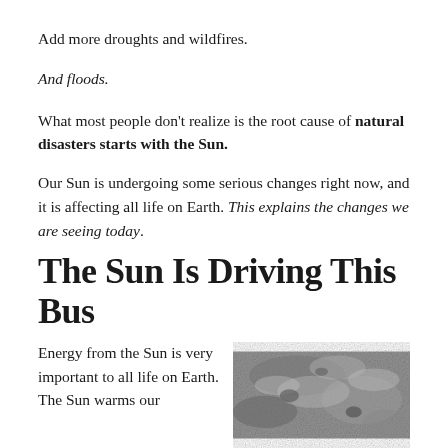Add more droughts and wildfires.
And floods.
What most people don't realize is the root cause of natural disasters starts with the Sun.
Our Sun is undergoing some serious changes right now, and it is affecting all life on Earth. This explains the changes we are seeing today.
The Sun Is Driving This Bus
Energy from the Sun is very important to all life on Earth.
The Sun warms our
[Figure (photo): Close-up grayscale photograph of the Sun's surface showing solar activity and turbulent plasma structures.]